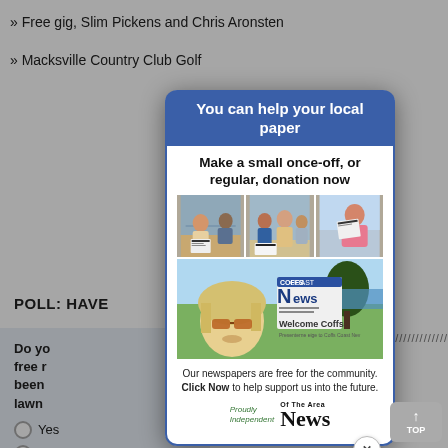» Free gig, Slim Pickens and Chris Aronsten
» Macksville Country Club Golf
POLL: HAVE
Do yo free r been lawn
○ Yes
○ No
[Figure (infographic): Modal advertisement popup for 'Of The Area News'. Blue header reads 'You can help your local paper'. Body says 'Make a small once-off, or regular, donation now'. Contains photos of people reading newspapers and a bottom photo with 'Welcome Coffs' headline. Caption: 'Our newspapers are free for the community. Click Now to help support us into the future.' Logo: 'Proudly Independent · News Of The Area'. Has an X close button at bottom right.]